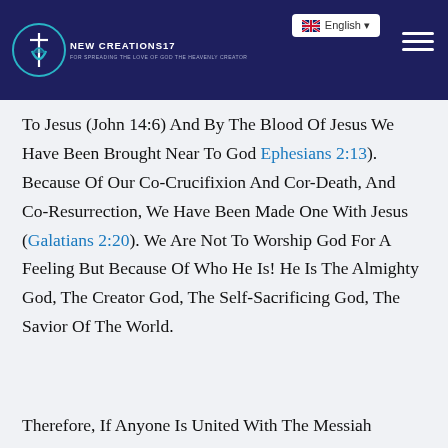New Creations17 — English
To Jesus (John 14:6) And By The Blood Of Jesus We Have Been Brought Near To God Ephesians 2:13). Because Of Our Co-Crucifixion And Cor-Death, And Co-Resurrection, We Have Been Made One With Jesus (Galatians 2:20). We Are Not To Worship God For A Feeling But Because Of Who He Is! He Is The Almighty God, The Creator God, The Self-Sacrificing God, The Savior Of The World.
Therefore, If Anyone Is United With The Messiah (Christ), He Is A New Creation — The Old Has Passed; Look, What Has Come Is Fresh And New! And It Is All From God